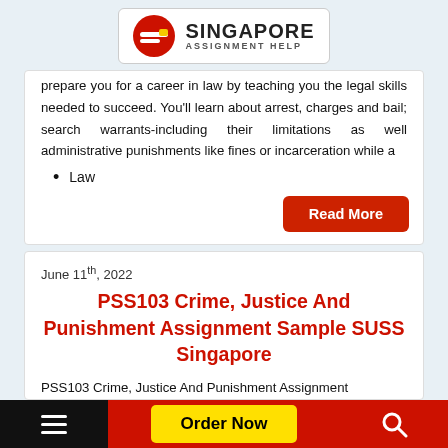[Figure (logo): Singapore Assignment Help logo with red circular icon and text]
prepare you for a career in law by teaching you the legal skills needed to succeed. You'll learn about arrest, charges and bail; search warrants-including their limitations as well administrative punishments like fines or incarceration while a
Law
Read More
June 11th, 2022
PSS103 Crime, Justice And Punishment Assignment Sample SUSS Singapore
PSS103 Crime, Justice And Punishment Assignment